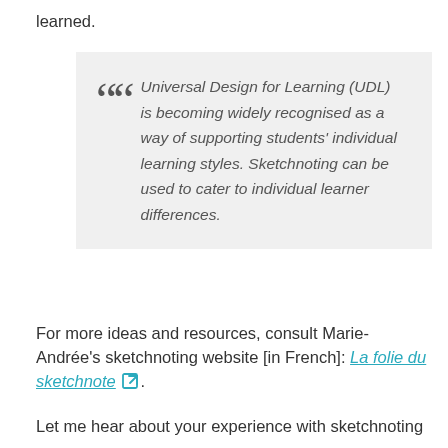learned.
Universal Design for Learning (UDL) is becoming widely recognised as a way of supporting students' individual learning styles. Sketchnoting can be used to cater to individual learner differences.
For more ideas and resources, consult Marie-Andrée's sketchnoting website [in French]: La folie du sketchnote [external link].
Let me hear about your experience with sketchnoting